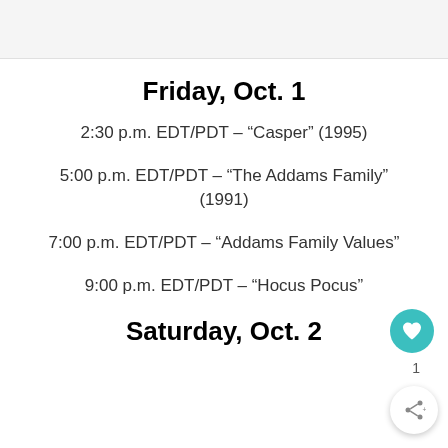Friday, Oct. 1
2:30 p.m. EDT/PDT – “Casper” (1995)
5:00 p.m. EDT/PDT – “The Addams Family” (1991)
7:00 p.m. EDT/PDT – “Addams Family Values”
9:00 p.m. EDT/PDT – “Hocus Pocus”
Saturday, Oct. 2